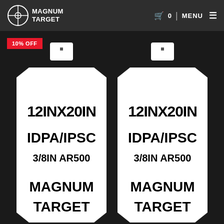Magnum Target | MENU
[Figure (photo): Two white AR500 steel IDPA/IPSC shooting targets side by side on a dark background, each labeled 12INX20IN IDPA/IPSC 3/8IN AR500 MAGNUM TARGET, with a 10% OFF badge in the top left corner.]